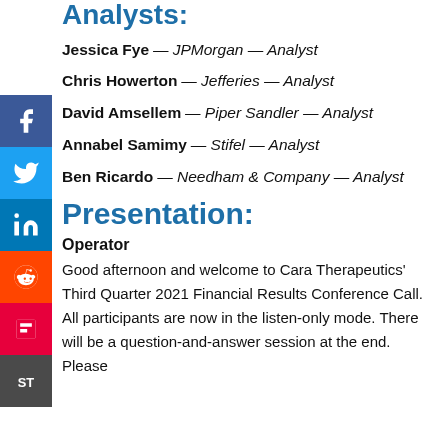Analysts:
Jessica Fye — JPMorgan — Analyst
Chris Howerton — Jefferies — Analyst
David Amsellem — Piper Sandler — Analyst
Annabel Samimy — Stifel — Analyst
Ben Ricardo — Needham & Company — Analyst
Presentation:
Operator
Good afternoon and welcome to Cara Therapeutics' Third Quarter 2021 Financial Results Conference Call. All participants are now in the listen-only mode. There will be a question-and-answer session at the end. Please